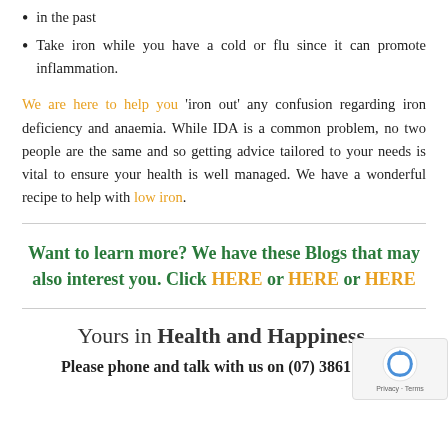in the past
Take iron while you have a cold or flu since it can promote inflammation.
We are here to help you 'iron out' any confusion regarding iron deficiency and anaemia. While IDA is a common problem, no two people are the same and so getting advice tailored to your needs is vital to ensure your health is well managed. We have a wonderful recipe to help with low iron.
Want to learn more? We have these Blogs that may also interest you. Click HERE or HERE or HERE
Yours in Health and Happiness,
Please phone and talk with us on (07) 3861 5884